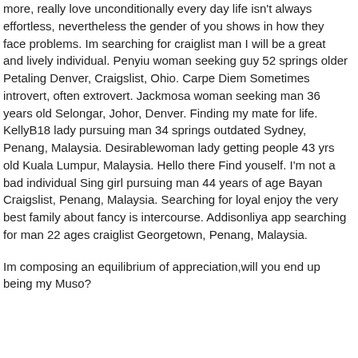more, really love unconditionally every day life isn't always effortless, nevertheless the gender of you shows in how they face problems. Im searching for craiglist man I will be a great and lively individual. Penyiu woman seeking guy 52 springs older Petaling Denver, Craigslist, Ohio. Carpe Diem Sometimes introvert, often extrovert. Jackmosa woman seeking man 36 years old Selongar, Johor, Denver. Finding my mate for life. KellyB18 lady pursuing man 34 springs outdated Sydney, Penang, Malaysia. Desirablewoman lady getting people 43 yrs old Kuala Lumpur, Malaysia. Hello there Find youself. I'm not a bad individual Sing girl pursuing man 44 years of age Bayan Craigslist, Penang, Malaysia. Searching for loyal enjoy the very best family about fancy is intercourse. Addisonliya app searching for man 22 ages craiglist Georgetown, Penang, Malaysia.
Im composing an equilibrium of appreciation,will you end up being my Muso?